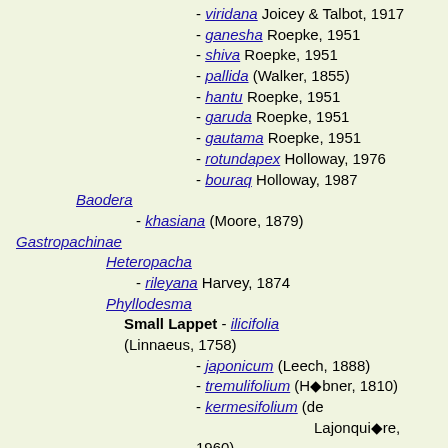- viridana Joicey & Talbot, 1917
- ganesha Roepke, 1951
- shiva Roepke, 1951
- pallida (Walker, 1855)
- hantu Roepke, 1951
- garuda Roepke, 1951
- gautama Roepke, 1951
- rotundapex Holloway, 1976
- bouraq Holloway, 1987
Baodera
- khasiana (Moore, 1879)
Gastropachinae
Heteropacha
- rileyana Harvey, 1874
Phyllodesma
Small Lappet - ilicifolia (Linnaeus, 1758)
- japonicum (Leech, 1888)
- tremulifolium (H◆bner, 1810)
- kermesifolium (de Lajonqui◆re, 1960)
- superifolia (Duponchel, 1842)
- priapus de Lajonqui◆re, 1963
- ambigua Staudinger, 1901
- alice John, 1909